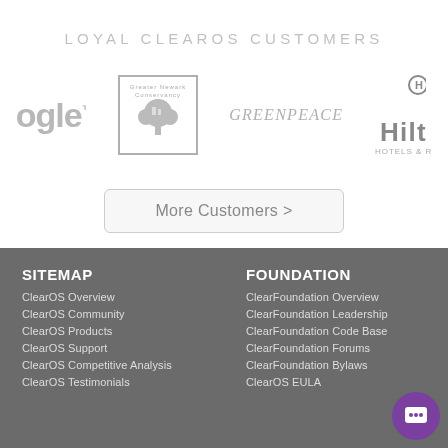LOYAL CLEAROS CUSTOMERS
[Figure (logo): Google logo (partially visible), Greater Newark Conservancy logo, Greenpeace logo, Hilton Hotels & Resorts logo (partially visible)]
More Customers >
SITEMAP
ClearOS Overview
ClearOS Community
ClearOS Products
ClearOS Support
ClearOS Competitive Analysis
ClearOS Testimonials
FOUNDATION
ClearFoundation Overview
ClearFoundation Leadership
ClearFoundation Code Base
ClearFoundation Forums
ClearFoundation Bylaws
ClearOS EULA